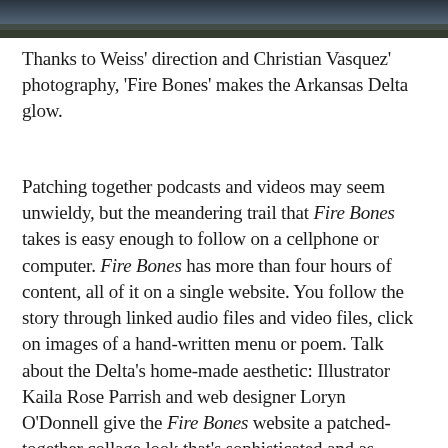[Figure (photo): Dark landscape photo strip at the top of the page, showing a dark sky and terrain.]
Thanks to Weiss' direction and Christian Vasquez' photography, 'Fire Bones' makes the Arkansas Delta glow.
Patching together podcasts and videos may seem unwieldy, but the meandering trail that Fire Bones takes is easy enough to follow on a cellphone or computer. Fire Bones has more than four hours of content, all of it on a single website. You follow the story through linked audio files and video files, click on images of a hand-written menu or poem. Talk about the Delta's home-made aesthetic: Illustrator Kaila Rose Parrish and web designer Loryn O'Donnell give the Fire Bones website a patched-together collage look that's sophisticated and as charming as your kid's grade-school homework project.